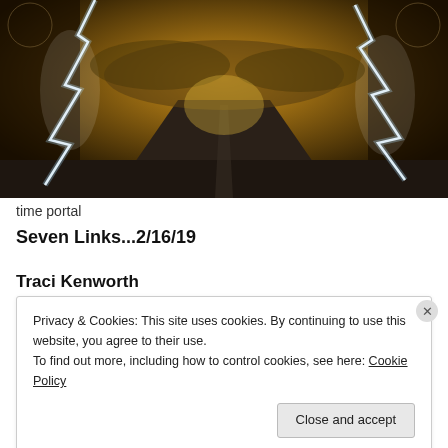[Figure (photo): Dramatic fantasy image of a road/runway stretching to the horizon with lightning strikes on both sides, golden stormy sky, and clock/gear motifs in the upper corners — a 'time portal' scene.]
time portal
Seven Links...2/16/19
Traci Kenworth
Privacy & Cookies: This site uses cookies. By continuing to use this website, you agree to their use.
To find out more, including how to control cookies, see here: Cookie Policy